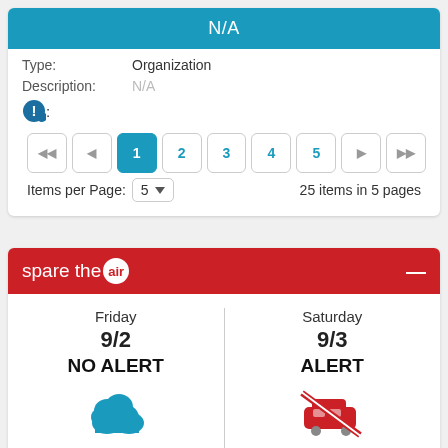N/A
Type: Organization
Description: N/A
Pagination: 1 2 3 4 5 — Items per Page: 5 — 25 items in 5 pages
[Figure (infographic): Spare the Air widget showing two columns: Friday 9/2 NO ALERT with cloud icon, Saturday 9/3 ALERT with crossed-out car icon. Both have Learn more... links.]